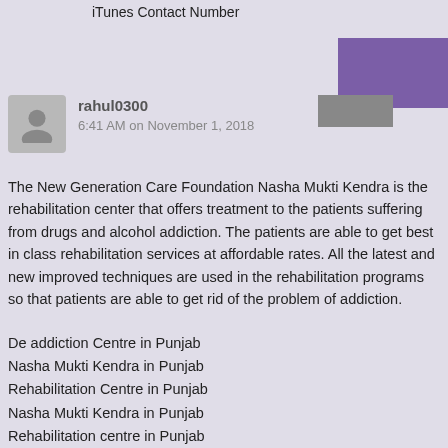iTunes Contact Number
[Figure (photo): User avatar silhouette icon in gray rectangle]
rahul0300
6:41 AM on November 1, 2018
The New Generation Care Foundation Nasha Mukti Kendra is the rehabilitation center that offers treatment to the patients suffering from drugs and alcohol addiction. The patients are able to get best in class rehabilitation services at affordable rates. All the latest and new improved techniques are used in the rehabilitation programs so that patients are able to get rid of the problem of addiction.
De addiction Centre in Punjab
Nasha Mukti Kendra in Punjab
Rehabilitation Centre in Punjab
Nasha Mukti Kendra in Punjab
Rehabilitation centre in Punjab
Nasha Mukti Kendra
Body Massage in Delhi
Visa to Visit India from UK
Packers and Movers in Delhi
CBSE Patrachar
Patrachar Vidyalaya
Dentist in Mohali
Dentist in Chandigarh
pcos Treatment in Delhi